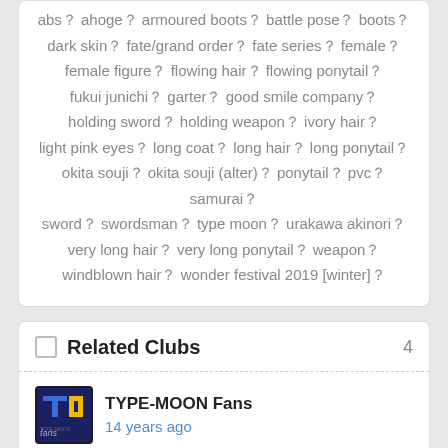abs？ ahoge？ armoured boots？ battle pose？ boots？ dark skin？ fate/grand order？ fate series？ female？ female figure？ flowing hair？ flowing ponytail？ fukui junichi？ garter？ good smile company？ holding sword？ holding weapon？ ivory hair？ light pink eyes？ long coat？ long hair？ long ponytail？ okita souji？ okita souji (alter)？ ponytail？ pvc？ samurai？ sword？ swordsman？ type moon？ urakawa akinori？ very long hair？ very long ponytail？ weapon？ windblown hair？ wonder festival 2019 [winter]？
Related Clubs 4
TYPE-MOON Fans
14 years ago